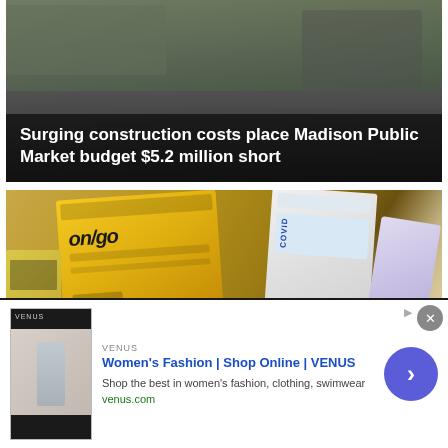[Figure (photo): News thumbnail showing people, with overlay text: Surging construction costs place Madison Public Market budget $5.2 million short]
Surging construction costs place Madison Public Market budget $5.2 million short
[Figure (photo): News thumbnail showing COVID test kit boxes (on/go brand and others in a cardboard box), with overlay text: 'We're in a vulnerable spot': UW Health expert says...]
'We're in a vulnerable spot': UW Health expert says
By clicking “Accept All Cookies”, you agree to the storing of cookies on your device to enhance site navigation, analyze site usage, and assist in our marketing efforts.
[Figure (screenshot): Advertisement: Women's Fashion | Shop Online | VENUS. Shop the best in women's fashion, clothing, swimwear. venus.com]